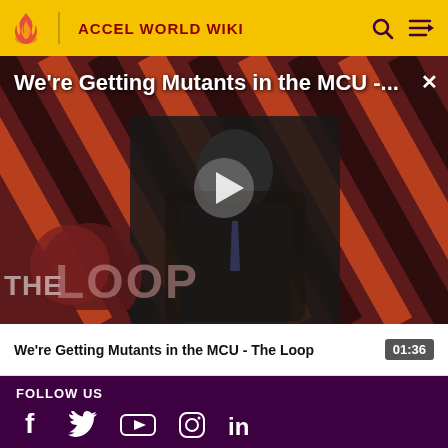ACCEL WORLD WIKI
[Figure (screenshot): Video thumbnail for 'We're Getting Mutants in the MCU - The Loop' showing a bald man in a suit seated in a chair, with a red diagonal striped background and The Loop logo overlay. A play button is visible in the center.]
We're Getting Mutants in the MCU -...
We're Getting Mutants in the MCU - The Loop  01:36
FOLLOW US
[Figure (illustration): Social media icons: Facebook, Twitter, YouTube, Instagram, LinkedIn]